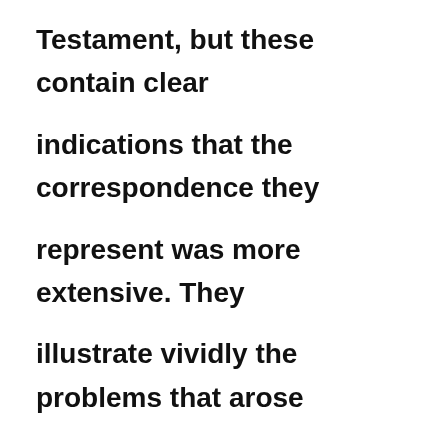Testament, but these contain clear indications that the correspondence they represent was more extensive. They illustrate vividly the problems that arose when people of widely different ethnic origins, religious backgrounds, levels of education and positions in the social hierarchy were being welded into a community by the power of a common faith, while at the same time they had